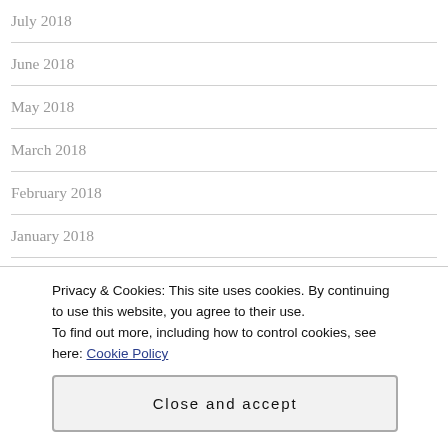July 2018
June 2018
May 2018
March 2018
February 2018
January 2018
December 2017
Privacy & Cookies: This site uses cookies. By continuing to use this website, you agree to their use.
To find out more, including how to control cookies, see here: Cookie Policy
Close and accept